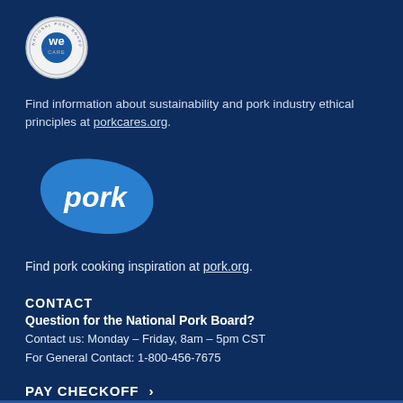[Figure (logo): WE CARE circular seal/badge logo in grey and blue tones]
Find information about sustainability and pork industry ethical principles at porkcares.org.
[Figure (logo): Pork logo — white italic text 'pork' on a blue blob/organic shape]
Find pork cooking inspiration at pork.org.
CONTACT
Question for the National Pork Board?
Contact us: Monday – Friday, 8am – 5pm CST
For General Contact: 1-800-456-7675
PAY CHECKOFF  >
SIGN UP FOR EMAIL  >